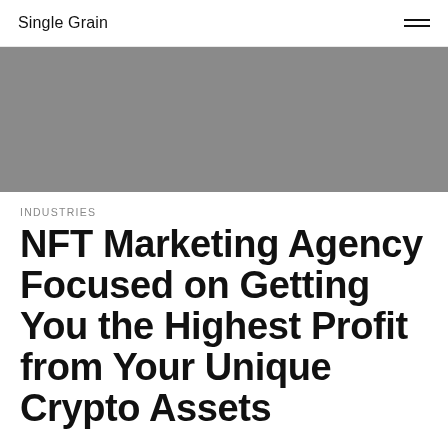Single Grain
[Figure (photo): Gray placeholder hero image banner]
INDUSTRIES
NFT Marketing Agency Focused on Getting You the Highest Profit from Your Unique Crypto Assets